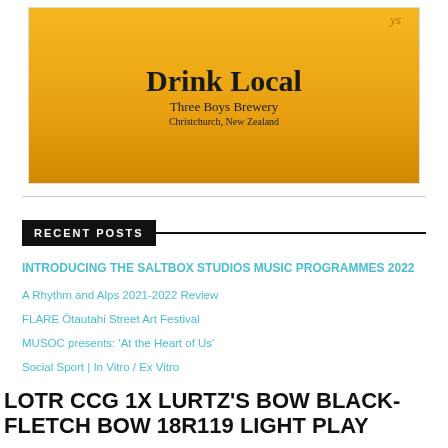[Figure (illustration): Advertisement for Three Boys Brewery showing a golden/amber beer mug on yellow-orange background with text 'Drink Local', 'Three Boys Brewery', 'Christchurch, New Zealand']
RECENT POSTS
INTRODUCING THE SALTBOX STUDIOS MUSIC PROGRAMMES 2022
A Rhythm and Alps 2021-2022 Review
FLARE Ōtautahi Street Art Festival
MUSOC presents: 'At the Heart of Us'
Social Sport | In Vitro / Ex Vitro
LOTR CCG 1X LURTZ'S BOW BLACK-FLETCH BOW 18R119 LIGHT PLAY